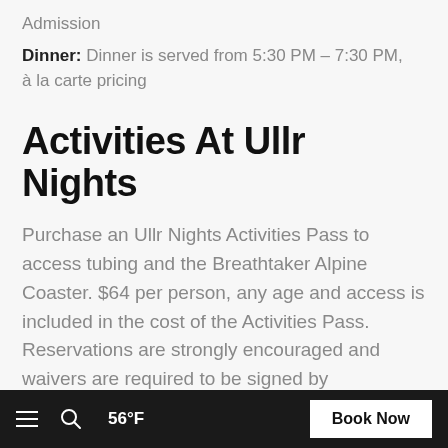Admission
Dinner: Dinner is served from 5:30 PM - 7:30 PM, à la carte pricing
Activities At Ullr Nights
Purchase an Ullr Nights Activities Pass to access tubing and the Breathtaker Alpine Coaster. $64 per person, any age and access is included in the cost of the Activities Pass. Reservations are strongly encouraged and waivers are required to be signed by participants, parents or guardians.
≡  🔍  56°F    Book Now